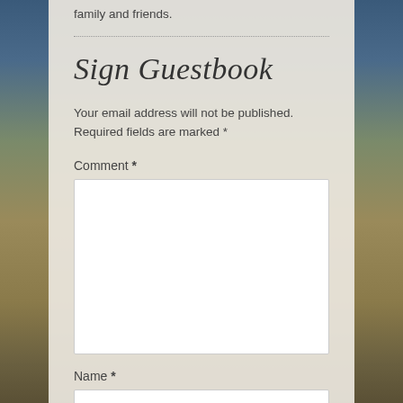family and friends.
Sign Guestbook
Your email address will not be published. Required fields are marked *
Comment *
Name *
Email *